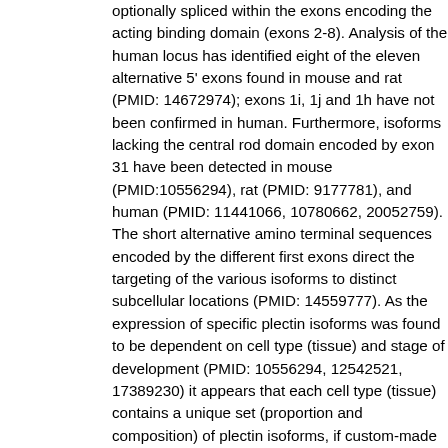optionally spliced within the exons encoding the acting binding domain (exons 2-8). Analysis of the human locus has identified eight of the eleven alternative 5' exons found in mouse and rat (PMID: 14672974); exons 1i, 1j and 1h have not been confirmed in human. Furthermore, isoforms lacking the central rod domain encoded by exon 31 have been detected in mouse (PMID:10556294), rat (PMID: 9177781), and human (PMID: 11441066, 10780662, 20052759). The short alternative amino terminal sequences encoded by the different first exons direct the targeting of the various isoforms to distinct subcellular locations (PMID: 14559777). As the expression of specific plectin isoforms was found to be dependent on cell type (tissue) and stage of development (PMID: 10556294, 12542521, 17389230) it appears that each cell type (tissue) contains a unique set (proportion and composition) of plectin isoforms, if custom-made for specific requirements of the particular cell. Concordantly, individual isoforms were found to carry out distinct and specific functions (PMID: 14559777, 12542521, 18541706). In 1996, a number of groups reported that patients suffering from epidermolysis bullosa simplex with muscular dystrophy (EBS-MD) lacked plectin expression in skin and muscle tissues due to defects in the plectin gene (PMID: